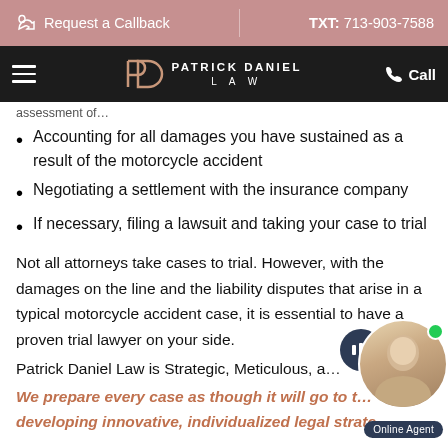Request a Callback | TXT: 713-903-7588
[Figure (logo): Patrick Daniel Law logo and navigation bar with hamburger menu and Call button]
Accounting for all damages you have sustained as a result of the motorcycle accident
Negotiating a settlement with the insurance company
If necessary, filing a lawsuit and taking your case to trial
Not all attorneys take cases to trial. However, with the damages on the line and the liability disputes that arise in a typical motorcycle accident case, it is essential to have a proven trial lawyer on your side.
Patrick Daniel Law is Strategic, Meticulous, a…
We prepare every case as though it will go to t… developing innovative, individualized legal strate…